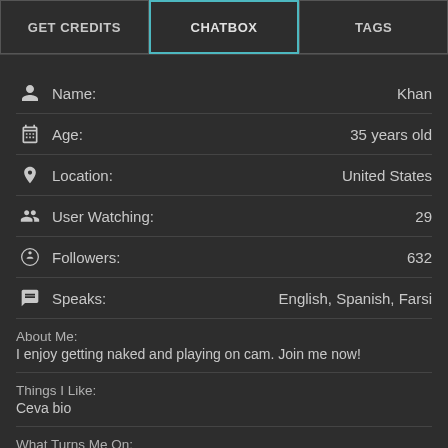GET CREDITS | CHATBOX | TAGS
Name: Khan
Age: 35 years old
Location: United States
User Watching: 29
Followers: 632
Speaks: English, Spanish, Farsi
About Me:
I enjoy getting naked and playing on cam. Join me now!
Things I Like:
Ceva bio
What Turns Me On:
Guys with tokens who want to have fun with me!
What Turns Me Off: